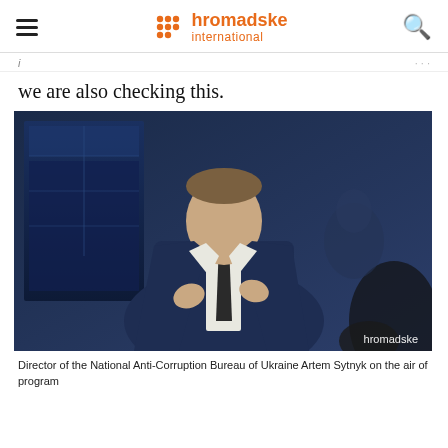hromadske international
we are also checking this.
[Figure (photo): Man in navy blue suit with dark tie sitting in a chair gesturing with his hands during a TV interview, with a dark blue studio background. Watermark: hromadske]
Director of the National Anti-Corruption Bureau of Ukraine Artem Sytnyk on the air of program